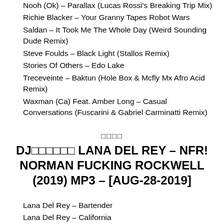Nooh (Ok) – Parallax (Lucas Rossi's Breaking Trip Mix)
Richie Blacker – Your Granny Tapes Robot Wars
Saldan – It Took Me The Whole Day (Weird Sounding Dude Remix)
Steve Foulds – Black Light (Stallos Remix)
Stories Of Others – Edo Lake
Treceveinte – Baktun (Hole Box & Mcfly Mx Afro Acid Remix)
Waxman (Ca) Feat. Amber Long – Casual Conversations (Fuscarini & Gabriel Carminatti Remix)
□□□□
DJ□□□□□□ LANA DEL REY – NFR! NORMAN FUCKING ROCKWELL (2019) MP3 – [AUG-28-2019]
Lana Del Rey – Bartender
Lana Del Rey – California